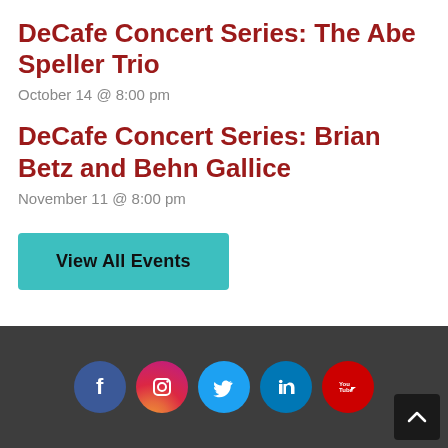DeCafe Concert Series: The Abe Speller Trio
October 14 @ 8:00 pm
DeCafe Concert Series: Brian Betz and Behn Gallice
November 11 @ 8:00 pm
View All Events
[Figure (illustration): Social media icon buttons for Facebook, Instagram, Twitter, LinkedIn, and YouTube on a dark grey footer background, with a scroll-to-top button at the bottom right.]